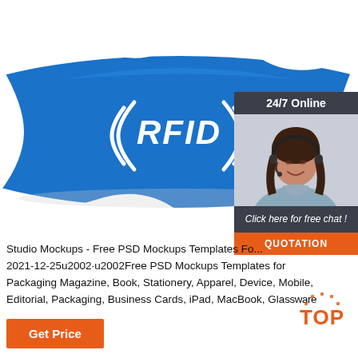[Figure (photo): Blue RFID silicone wristband with white ((RFID)) text and signal waves logo, photographed on white background]
[Figure (infographic): Dark grey sidebar widget with '24/7 Online' text, photo of smiling woman with headset, 'Click here for free chat!' italic text, and orange QUOTATION button]
[Figure (logo): Orange and red TOP logo with dotted circular design above the letters]
Studio Mockups - Free PSD Mockups Templates Fo... 2021-12-25u2002·u2002Free PSD Mockups Templates for Packaging Magazine, Book, Stationery, Apparel, Device, Mobile, Editorial, Packaging, Business Cards, iPad, MacBook, Glassware
[Figure (other): Orange 'Get Price' button]